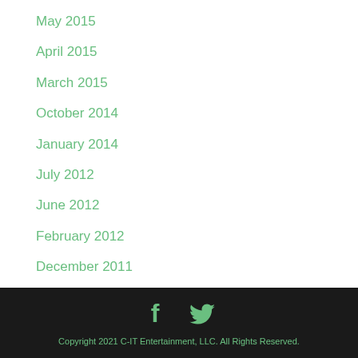May 2015
April 2015
March 2015
October 2014
January 2014
July 2012
June 2012
February 2012
December 2011
April 2009
Copyright 2021 C-IT Entertainment, LLC. All Rights Reserved.